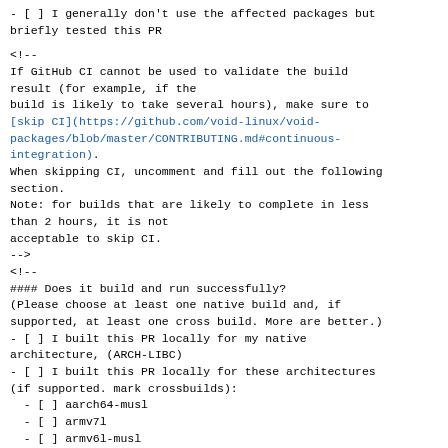- [ ] I generally don't use the affected packages but briefly tested this PR
<!--
If GitHub CI cannot be used to validate the build result (for example, if the
build is likely to take several hours), make sure to [skip CI](https://github.com/void-linux/void-packages/blob/master/CONTRIBUTING.md#continuous-integration).
When skipping CI, uncomment and fill out the following section.
Note: for builds that are likely to complete in less than 2 hours, it is not
acceptable to skip CI.
-->
<!--
#### Does it build and run successfully?
(Please choose at least one native build and, if supported, at least one cross build. More are better.)
- [ ] I built this PR locally for my native architecture, (ARCH-LIBC)
- [ ] I built this PR locally for these architectures (if supported. mark crossbuilds):
  - [ ] aarch64-musl
  - [ ] armv7l
  - [ ] armv6l-musl
-->